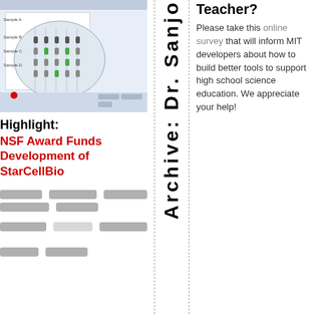[Figure (screenshot): Screenshot of StarCellBio software interface showing gel electrophoresis simulation with sample lanes and controls]
Highlight:
NSF Award Funds Development of StarCellBio
[Figure (photo): Gel electrophoresis image showing multiple rows of bands in grey tones]
Archive: Dr. Sanjo
Teacher?
Please take this online survey that will inform MIT developers about how to build better tools to support high school science education. We appreciate your help!